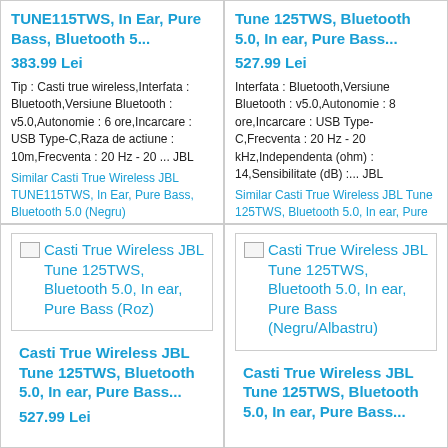TUNE115TWS, In Ear, Pure Bass, Bluetooth 5...
383.99 Lei
Tip : Casti true wireless,Interfata : Bluetooth,Versiune Bluetooth : v5.0,Autonomie : 6 ore,Incarcare : USB Type-C,Raza de actiune : 10m,Frecventa : 20 Hz - 20 ... JBL
Similar Casti True Wireless JBL TUNE115TWS, In Ear, Pure Bass, Bluetooth 5.0 (Negru)
Tune 125TWS, Bluetooth 5.0, In ear, Pure Bass...
527.99 Lei
Interfata : Bluetooth,Versiune Bluetooth : v5.0,Autonomie : 8 ore,Incarcare : USB Type-C,Frecventa : 20 Hz - 20 kHz,Independenta (ohm) : 14,Sensibilitate (dB) :... JBL
Similar Casti True Wireless JBL Tune 125TWS, Bluetooth 5.0, In ear, Pure Bass (Alb)
[Figure (photo): Broken image placeholder for Casti True Wireless JBL Tune 125TWS, Bluetooth 5.0, In ear, Pure Bass (Roz)]
Casti True Wireless JBL Tune 125TWS, Bluetooth 5.0, In ear, Pure Bass...
527.99 Lei
[Figure (photo): Broken image placeholder for Casti True Wireless JBL Tune 125TWS, Bluetooth 5.0, In ear, Pure Bass (Negru/Albastru)]
Casti True Wireless JBL Tune 125TWS, Bluetooth 5.0, In ear, Pure Bass...